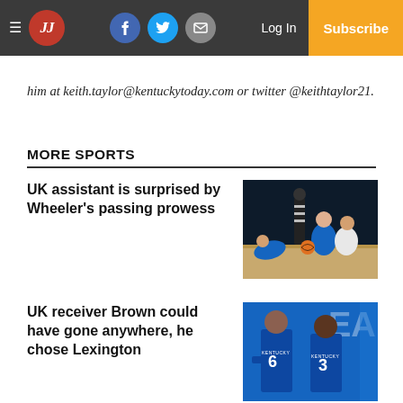JJ | Log In | Subscribe
him at keith.taylor@kentuckytoday.com or twitter @keithtaylor21.
MORE SPORTS
UK assistant is surprised by Wheeler's passing prowess
[Figure (photo): Basketball players scrambling for the ball during a game, referee in background]
UK receiver Brown could have gone anywhere, he chose Lexington
[Figure (photo): UK football players in blue uniforms, numbers 6 and 3 visible, EA backdrop]